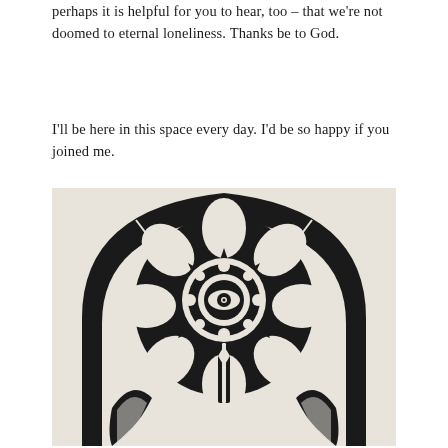perhaps it is helpful for you to hear, too – that we're not doomed to eternal loneliness. Thanks be to God.
I'll be here in this space every day. I'd be so happy if you joined me.
[Figure (illustration): Black and white linocut or woodcut illustration depicting an ornate arch (Gothic-style pointed arch) with a sunflower or mandala-like decorative circular motif at the center featuring an eye symbol, surrounded by radiating petals and geometric patterns, with stylized hands or leaves at the bottom corners.]